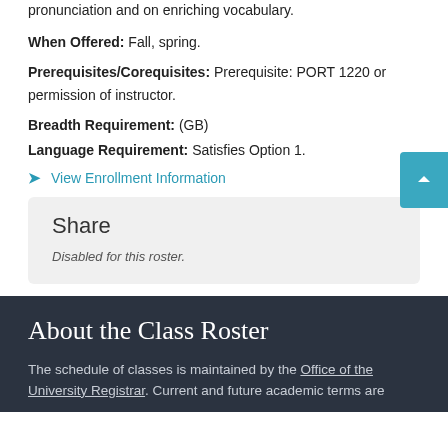pronunciation and on enriching vocabulary.
When Offered: Fall, spring.
Prerequisites/Corequisites: Prerequisite: PORT 1220 or permission of instructor.
Breadth Requirement: (GB)
Language Requirement: Satisfies Option 1.
View Enrollment Information
Share
Disabled for this roster.
About the Class Roster
The schedule of classes is maintained by the Office of the University Registrar. Current and future academic terms are